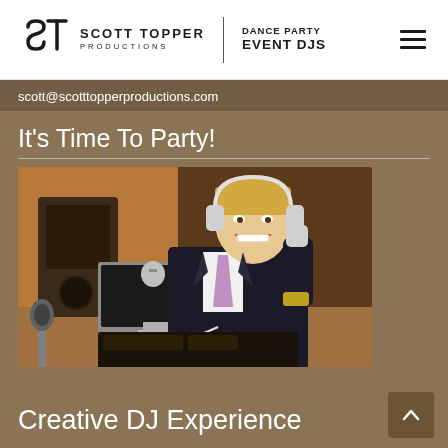Scott Topper Productions | Dance Party Event DJs
scott@scotttopperproductions.com
It's Time To Party!
[Figure (photo): DJ Scott Topper in a black suit with lavender tie, smiling and holding headphones up to his ear, standing behind a DJ setup with an Apple MacBook laptop at what appears to be a formal event venue]
Creative DJ Experience